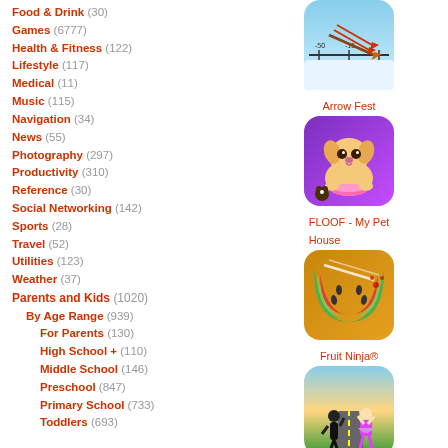Food & Drink (30)
Games (6777)
Health & Fitness (122)
Lifestyle (117)
Medical (11)
Music (115)
Navigation (34)
News (55)
Photography (297)
Productivity (310)
Reference (30)
Social Networking (142)
Sports (28)
Travel (52)
Utilities (123)
Weather (37)
Parents and Kids (1020)
By Age Range (939)
For Parents (130)
High School + (110)
Middle School (146)
Preschool (847)
Primary School (733)
Toddlers (693)
[Figure (illustration): Arrow Fest app icon - game with arrows on number line]
Arrow Fest
[Figure (illustration): FLOOF - My Pet House app icon - cute puppy dog]
FLOOF - My Pet House
[Figure (illustration): Fruit Ninja app icon - sliced watermelon]
Fruit Ninja®
[Figure (illustration): Dancing Race app icon - characters racing on road]
Dancing Race
[Figure (illustration): Partially visible app icon at bottom right]